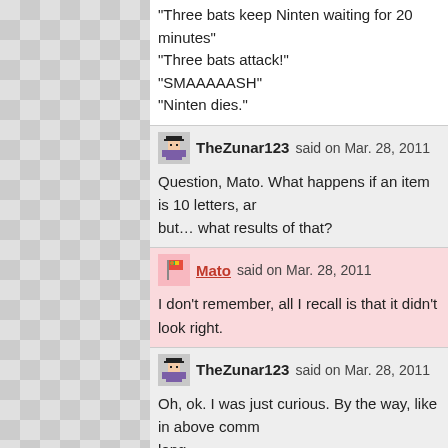“Three bats keep Ninten waiting for 20 minutes”
“Three bats attack!”
“SMAAAAAASH”
“Ninten dies.”
TheZunar123 said on Mar. 28, 2011
Question, Mato. What happens if an item is 10 letters, ar... but… what results of that?
Mato said on Mar. 28, 2011
I don't remember, all I recall is that it didn't look right.
TheZunar123 said on Mar. 28, 2011
Oh, ok. I was just curious. By the way, like in above comm... long.
SHYNESSBOOK
CUP NOODLES
CHERUBBRAC

My suggestions are:
SHYNSSBOOK
NOODLES
CHERUBAND